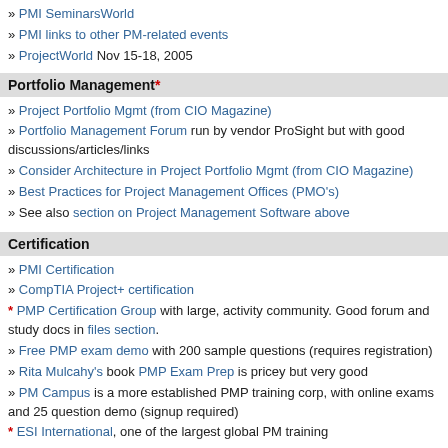» PMI SeminarsWorld
» PMI links to other PM-related events
» ProjectWorld Nov 15-18, 2005
Portfolio Management*
» Project Portfolio Mgmt (from CIO Magazine)
» Portfolio Management Forum run by vendor ProSight but with good discussions/articles/links
» Consider Architecture in Project Portfolio Mgmt (from CIO Magazine)
» Best Practices for Project Management Offices (PMO's)
» See also section on Project Management Software above
Certification
» PMI Certification
» CompTIA Project+ certification
* PMP Certification Group with large, activity community. Good forum and study docs in files section.
» Free PMP exam demo with 200 sample questions (requires registration)
» Rita Mulcahy's book PMP Exam Prep is pricey but very good
» PM Campus is a more established PMP training corp, with online exams and 25 question demo (signup required)
* ESI International, one of the largest global PM training